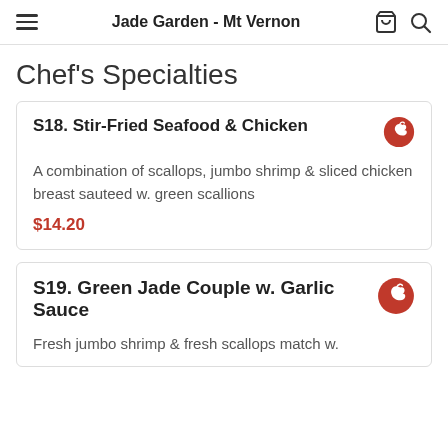Jade Garden - Mt Vernon
Chef's Specialties
S18. Stir-Fried Seafood & Chicken
A combination of scallops, jumbo shrimp & sliced chicken breast sauteed w. green scallions
$14.20
S19. Green Jade Couple w. Garlic Sauce
Fresh jumbo shrimp & fresh scallops match w.